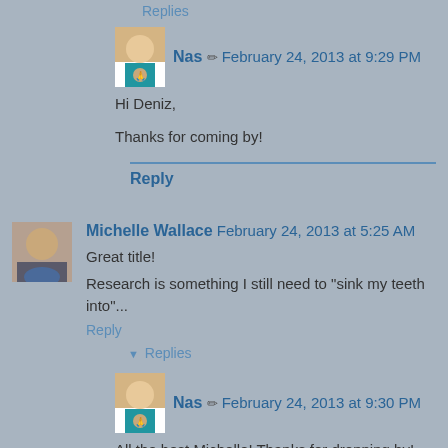Replies
Nas ✏ February 24, 2013 at 9:29 PM
Hi Deniz,

Thanks for coming by!
Reply
Michelle Wallace  February 24, 2013 at 5:25 AM
Great title!
Research is something I still need to "sink my teeth into"...
Reply
Replies
Nas ✏ February 24, 2013 at 9:30 PM
All the best Michelle! Thanks for dropping by!
Reply